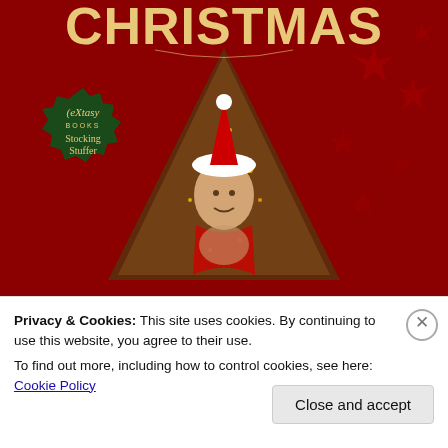[Figure (illustration): Book cover for a Christmas anthology from eXtasy Books Stocking Stuffer series. Deep red background with large CHRISTMAS text in gold at top. A Christmas tree triangle shape in center showing a man in Santa hat and open red robe. Green badge with eXtasy Books Stocking Stuffer logo on left side. Red snowflakes in background.]
Privacy & Cookies: This site uses cookies. By continuing to use this website, you agree to their use.
To find out more, including how to control cookies, see here: Cookie Policy
Close and accept